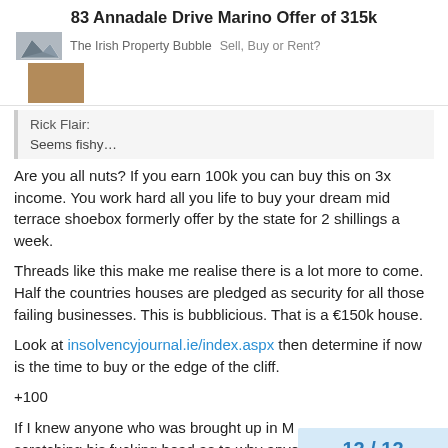83 Annadale Drive Marino Offer of 315k — The Irish Property Bubble  Sell, Buy or Rent?
Rick Flair:
Seems fishy…
Are you all nuts? If you earn 100k you can buy this on 3x income. You work hard all you life to buy your dream mid terrace shoebox formerly offer by the state for 2 shillings a week.
Threads like this make me realise there is a lot more to come. Half the countries houses are pledged as security for all those failing businesses. This is bubblicious. That is a €150k house.
Look at insolvencyjournal.ie/index.aspx then determine if now is the time to buy or the edge of the cliff.
+100
If I knew anyone who was brought up in M
scratching his fucking head as to why anyo
12 / 12